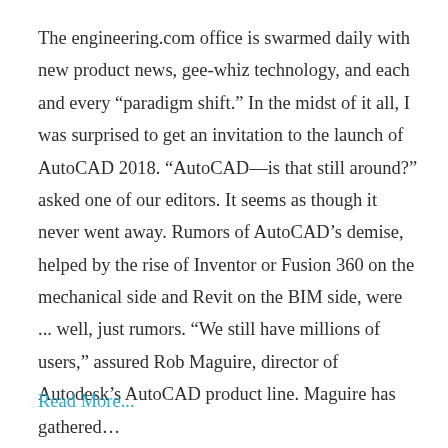The engineering.com office is swarmed daily with new product news, gee-whiz technology, and each and every “paradigm shift.” In the midst of it all, I was surprised to get an invitation to the launch of AutoCAD 2018. “AutoCAD—is that still around?” asked one of our editors. It seems as though it never went away. Rumors of AutoCAD’s demise, helped by the rise of Inventor or Fusion 360 on the mechanical side and Revit on the BIM side, were ... well, just rumors. “We still have millions of users,” assured Rob Maguire, director of Autodesk’s AutoCAD product line. Maguire has gathered…
Read More...